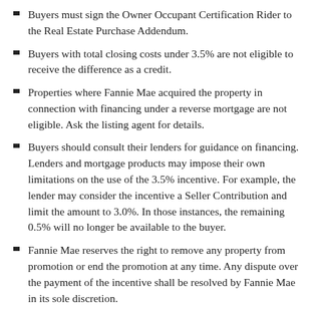Buyers must sign the Owner Occupant Certification Rider to the Real Estate Purchase Addendum.
Buyers with total closing costs under 3.5% are not eligible to receive the difference as a credit.
Properties where Fannie Mae acquired the property in connection with financing under a reverse mortgage are not eligible. Ask the listing agent for details.
Buyers should consult their lenders for guidance on financing. Lenders and mortgage products may impose their own limitations on the use of the 3.5% incentive. For example, the lender may consider the incentive a Seller Contribution and limit the amount to 3.0%. In those instances, the remaining 0.5% will no longer be available to the buyer.
Fannie Mae reserves the right to remove any property from promotion or end the promotion at any time. Any dispute over the payment of the incentive shall be resolved by Fannie Mae in its sole discretion.